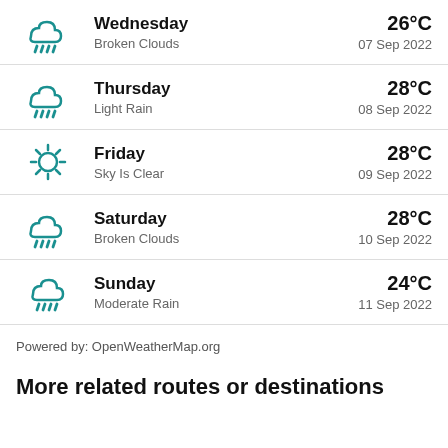Wednesday | 26°C | Broken Clouds | 07 Sep 2022
Thursday | 28°C | Light Rain | 08 Sep 2022
Friday | 28°C | Sky Is Clear | 09 Sep 2022
Saturday | 28°C | Broken Clouds | 10 Sep 2022
Sunday | 24°C | Moderate Rain | 11 Sep 2022
Powered by: OpenWeatherMap.org
More related routes or destinations